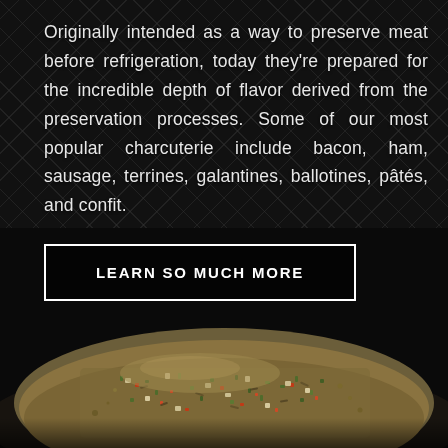Originally intended as a way to preserve meat before refrigeration, today they're prepared for the incredible depth of flavor derived from the preservation processes. Some of our most popular charcuterie include bacon, ham, sausage, terrines, galantines, ballotines, pâtés, and confit.
LEARN SO MUCH MORE
[Figure (photo): Close-up photo of a mound of mixed spice blend with herbs, seeds, dried red peppers, and other seasonings on a dark background, viewed from slightly above.]